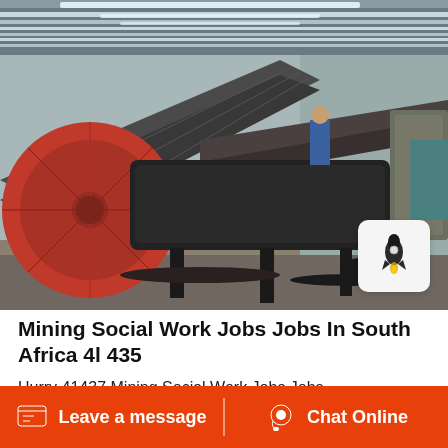[Figure (photo): Industrial mining equipment inside a large warehouse/factory. Features a large red wheel/sprocket on the left, conveyor belts, metal screens/vibrators, and a worker visible in the background. Fluorescent lights illuminate the metal-roofed building.]
Mining Social Work Jobs Jobs In South Africa 4l 435
Hurry 41437 Mining Social Work Jobs Jobs,
Leave a message   Chat Online